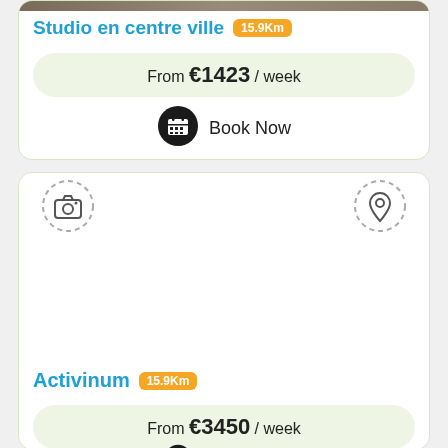[Figure (photo): Top strip of a property photo, partially visible at the top of the first listing card]
Studio en centre ville 15.9Km
From €1423 / week
[Figure (illustration): Calendar/booking icon (black circle with calendar grid)]
Book Now
[Figure (illustration): Camera icon in dashed circle (left) and location pin icon in dashed circle (right) for second listing card]
Activinum 15.9Km
From €3450 / week
[Figure (illustration): Calendar/booking icon (black circle with calendar grid), partially visible]
Book Now